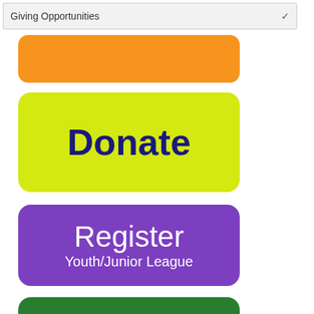[Figure (screenshot): Dropdown selector bar labeled 'Giving Opportunities' with a chevron arrow on the right]
[Figure (screenshot): Partial orange rounded rectangle button with dark blue text, partially cropped at top]
[Figure (screenshot): Yellow-green rounded rectangle button with dark navy bold text reading 'Donate']
[Figure (screenshot): Purple rounded rectangle button with white text reading 'Register' and 'Youth/Junior League']
[Figure (screenshot): Green rounded rectangle button with white text reading 'Register!' and 'Adult/Senior League', partially cropped at bottom]
[Figure (screenshot): Orange 'Translate »' button at bottom left, partially cropped; scroll-to-top arrow button at bottom right]